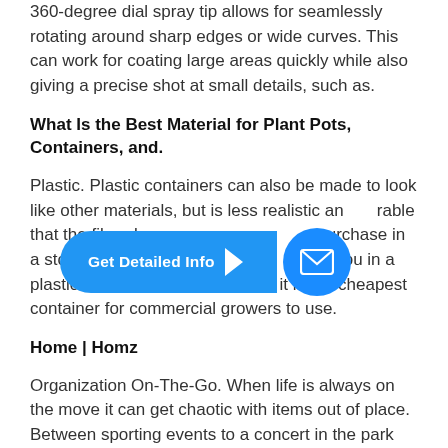360-degree dial spray tip allows for seamlessly rotating around sharp edges or wide curves. This can work for coating large areas quickly while also giving a precise shot at small details, such as.
What Is the Best Material for Plant Pots, Containers, and.
Plastic. Plastic containers can also be made to look like other materials, but is less realistic and durable that the fiberglass p... purchase in a store or at a nursery will go home with you in a plastic container; this is because it is the cheapest container for commercial growers to use.
[Figure (other): Blue pill-shaped button with text 'Get Detailed Info' and an arrow pointing right, alongside a blue circular email icon button]
Home | Homz
Organization On-The-Go. When life is always on the move it can get chaotic with items out of place. Between sporting events to a concert in the park